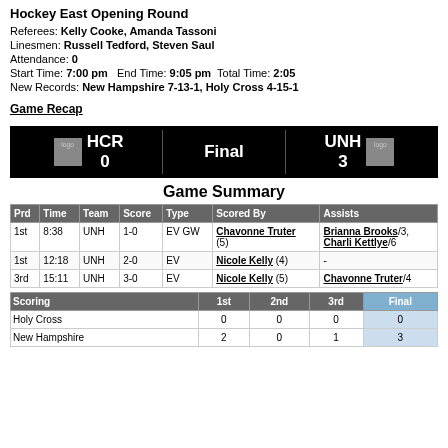Hockey East Opening Round
Referees: Kelly Cooke, Amanda Tassoni
Linesmen: Russell Tedford, Steven Saul
Attendance: 0
Start Time: 7:00 pm   End Time: 9:05 pm   Total Time: 2:05
New Records: New Hampshire 7-13-1, Holy Cross 4-15-1
Game Recap
[Figure (infographic): Scoreboard showing HCR 0 vs UNH 3, Final]
Game Summary
| Prd | Time | Team | Score | Type | Scored By | Assists |
| --- | --- | --- | --- | --- | --- | --- |
| 1st | 8:38 | UNH | 1-0 | EV GW | Chavonne Truter (5) | Brianna Brooks/3, Charli Kettlye/6 |
| 1st | 12:18 | UNH | 2-0 | EV | Nicole Kelly (4) | - |
| 3rd | 15:11 | UNH | 3-0 | EV | Nicole Kelly (5) | Chavonne Truter/4 |
| Scoring | 1st | 2nd | 3rd | Final |
| --- | --- | --- | --- | --- |
| Holy Cross | 0 | 0 | 0 | 0 |
| New Hampshire | 2 | 0 | 1 | 3 |